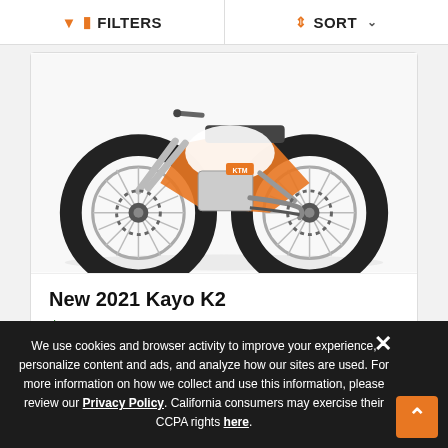FILTERS   SORT
[Figure (photo): A 2021 Kayo K2 dirt bike / motocross motorcycle with orange frame, black knobby tires, and silver forks, displayed against a white background.]
New 2021 Kayo K2
$2,399
We use cookies and browser activity to improve your experience, personalize content and ads, and analyze how our sites are used. For more information on how we collect and use this information, please review our Privacy Policy. California consumers may exercise their CCPA rights here.